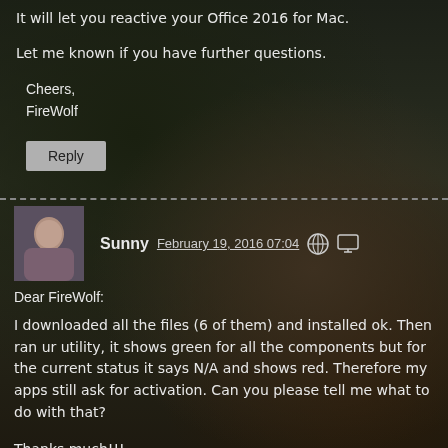It will let you reactive your Office 2016 for Mac.
Let me known if you have further questions.
Cheers,
FireWolf
Reply
Sunny   February 19, 2016 07:04
Dear FireWolf:
I downloaded all the files (6 of them) and installed ok. Then ran ur utility, it shows green for all the components but for the current status it says N/A and shows red. Therefore my apps still ask for activation. Can you please tell me what to do with that?
Thanks much!!!